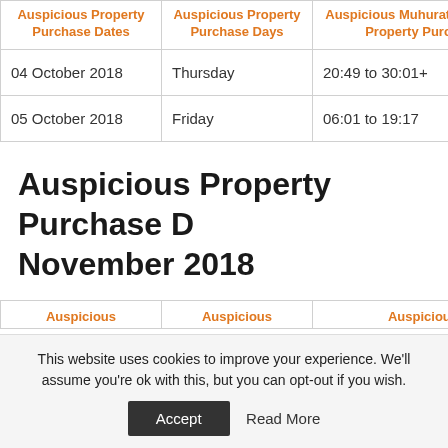| Auspicious Property Purchase Dates | Auspicious Property Purchase Days | Auspicious Muhurat Timing For Property Purchase | Auspicious Naksha Prop Purc… |
| --- | --- | --- | --- |
| 04 October 2018 | Thursday | 20:49 to 30:01+ | Ashle… |
| 05 October 2018 | Friday | 06:01 to 19:17 | Ashle… |
Auspicious Property Purchase D… November 2018
| Auspicious… | Auspicious… | Auspicious… | Ausp… |
| --- | --- | --- | --- |
This website uses cookies to improve your experience. We'll assume you're ok with this, but you can opt-out if you wish.